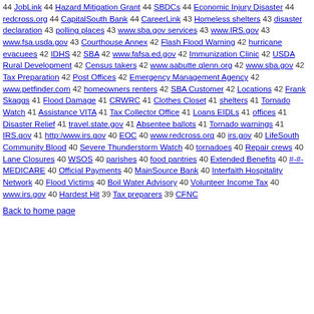44 JobLink 44 Hazard Mitigation Grant 44 SBDCs 44 Economic Injury Disaster 44 redcross.org 44 CapitalSouth Bank 44 CareerLink 43 Homeless shelters 43 disaster declaration 43 polling places 43 www.sba.gov services 43 www.IRS.gov 43 www.fsa.usda.gov 43 Courthouse Annex 42 Flash Flood Warning 42 hurricane evacuees 42 IDHS 42 SBA 42 www.fafsa.ed.gov 42 Immunization Clinic 42 USDA Rural Development 42 Census takers 42 www.aabutte glenn.org 42 www.sba.gov 42 Tax Preparation 42 Post Offices 42 Emergency Management Agency 42 www.petfinder.com 42 homeowners renters 42 SBA Customer 42 Locations 42 Frank Skaggs 41 Flood Damage 41 CRWRC 41 Clothes Closet 41 shelters 41 Tornado Watch 41 Assistance VITA 41 Tax Collector Office 41 Loans EIDLs 41 offices 41 Disaster Relief 41 travel.state.gov 41 Absentee ballots 41 Tornado warnings 41 IRS.gov 41 http:/www.irs.gov 40 EOC 40 www.redcross.org 40 irs.gov 40 LifeSouth Community Blood 40 Severe Thunderstorm Watch 40 tornadoes 40 Repair crews 40 Lane Closures 40 WSOS 40 parishes 40 food pantries 40 Extended Benefits 40 #-#-MEDICARE 40 Official Payments 40 MainSource Bank 40 Interfaith Hospitality Network 40 Flood Victims 40 Boil Water Advisory 40 Volunteer Income Tax 40 www.irs.gov 40 Hardest Hit 39 Tax preparers 39 CFNC
Back to home page